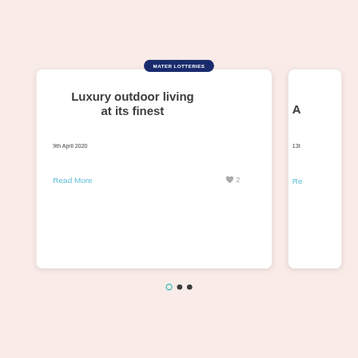MATER LOTTERIES
Luxury outdoor living at its finest
9th April 2020
Read More
♥ 2
A
13t
Re
[Figure (other): Carousel navigation dots: first dot is teal/active ring, second and third dots are dark filled circles]